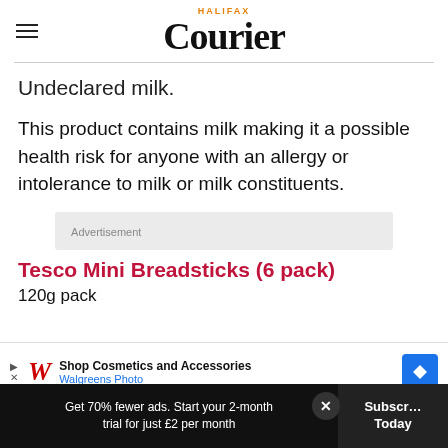HALIFAX Courier
Undeclared milk.
This product contains milk making it a possible health risk for anyone with an allergy or intolerance to milk or milk constituents.
[Figure (other): Advertisement placeholder box with text 'Advertisement']
Tesco Mini Breadsticks (6 pack)
120g pack
[Figure (other): Walgreens Photo advertisement overlay: Shop Cosmetics and Accessories]
Get 70% fewer ads. Start your 2-month trial for just £2 per month
Subscribe Today